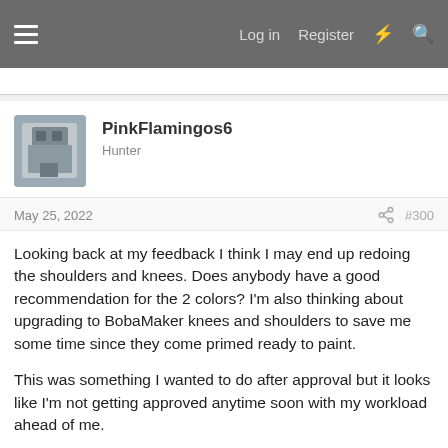Log in  Register
PinkFlamingos6
Hunter
May 25, 2022  #300
Looking back at my feedback I think I may end up redoing the shoulders and knees. Does anybody have a good recommendation for the 2 colors? I'm also thinking about upgrading to BobaMaker knees and shoulders to save me some time since they come primed ready to paint.

This was something I wanted to do after approval but it looks like I'm not getting approved anytime soon with my workload ahead of me.

Also any tips on how to fix the "blobby" areas of the helmet?